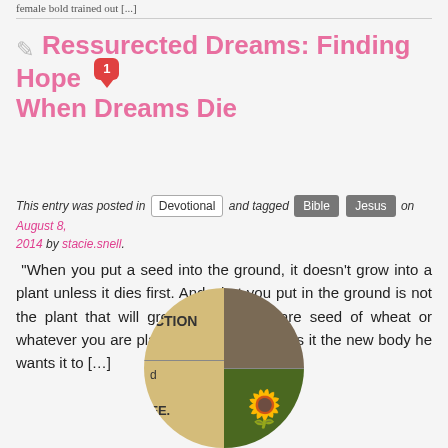female bold trained out [...]
Ressurected Dreams: Finding Hope When Dreams Die
This entry was posted in Devotional and tagged Bible Jesus on August 8, 2014 by stacie.snell.
“When you put a seed into the ground, it doesn’t grow into a plant unless it dies first. And what you put in the ground is not the plant that will grow, but only a bare seed of wheat or whatever you are planting. Then God gives it the new body he wants it to […]
[Figure (illustration): Circular thumbnail image split into left side with tan/yellow background containing text ‘.CTION’, ‘d’, ‘FE.’ and right side showing a stone/rocky texture with sunflowers in the bottom right quadrant]